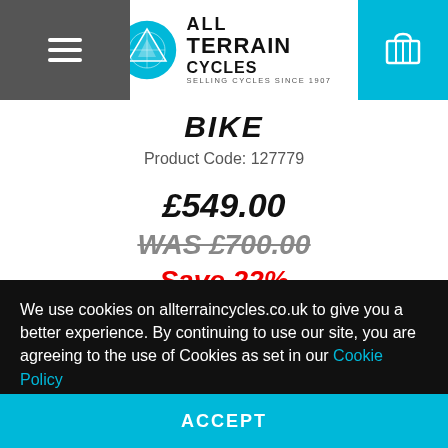[Figure (logo): All Terrain Cycles logo with mountain/wheel icon and text 'ALL TERRAINCYCLES SELLING CYCLES SINCE 1907']
BIKE
Product Code: 127779
£549.00
WAS £700.00
Save 22%
We use cookies on allterraincycles.co.uk to give you a better experience. By continuing to use our site, you are agreeing to the use of Cookies as set in our Cookie Policy
ACCEPT